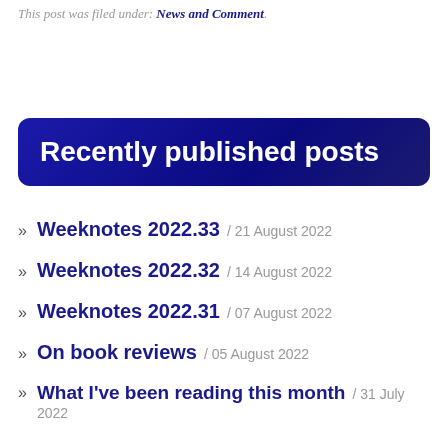This post was filed under: News and Comment.
Recently published posts
Weeknotes 2022.33 / 21 August 2022
Weeknotes 2022.32 / 14 August 2022
Weeknotes 2022.31 / 07 August 2022
On book reviews / 05 August 2022
What I've been reading this month / 31 July 2022